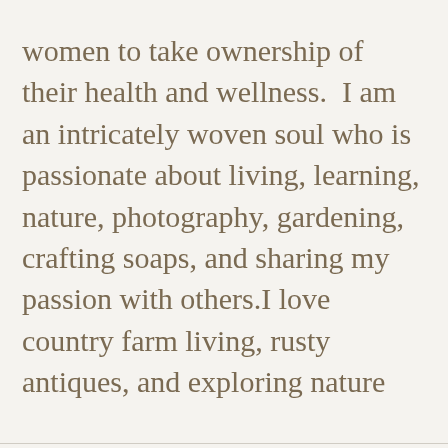women to take ownership of their health and wellness.  I am an intricately woven soul who is passionate about living, learning, nature, photography, gardening, crafting soaps, and sharing my passion with others.I love country farm living, rusty antiques, and exploring nature
We use cookies on our website to give you the most relevant experience by remembering your preferences and repeat visits. By clicking “Accept All”, you consent to the use of ALL the cookies. However, you may visit "Cookie Settings" to provide a controlled consent.